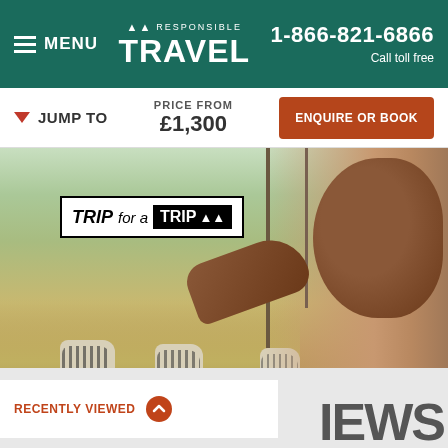≡ MENU   RESPONSIBLE TRAVEL   1-866-821-6866 Call toll free
▼ JUMP TO   PRICE FROM £1,300   ENQUIRE OR BOOK
[Figure (screenshot): Safari scene with a smiling child leaning out of a vehicle window, zebras visible in the grassland background, with a 'TRIP for a TRIP' promotional badge overlay in the upper left.]
RECENTLY VIEWED
IEWS